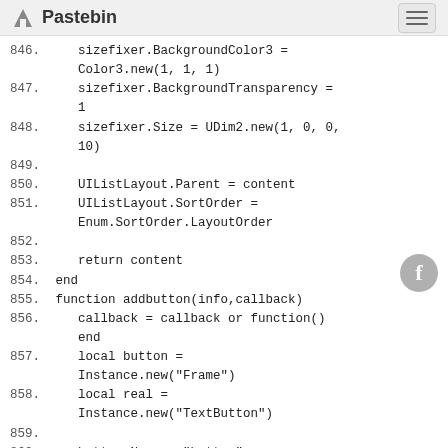Pastebin
[Figure (screenshot): Code listing showing Lua script lines 846-862 from Pastebin. Lines include sizefixer.BackgroundColor3, sizefixer.BackgroundTransparency, sizefixer.Size, UIListLayout.Parent, UIListLayout.SortOrder, return content, end, function addbutton, callback, local button, local real, button.Name, button.Parent, button.BackgroundColor3.]